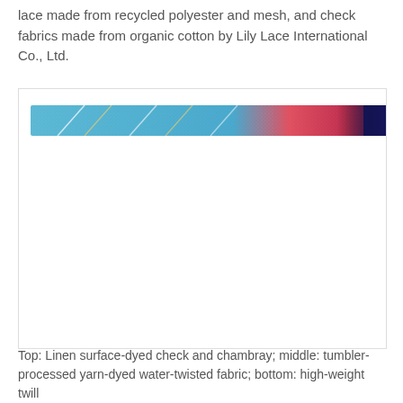lace made from recycled polyester and mesh, and check fabrics made from organic cotton by Lily Lace International Co., Ltd.
[Figure (photo): A horizontal band image showing fabric samples: blue/cyan fabric with diagonal gold/white lines on the left, red/pink glittery fabric in the middle, and dark navy blue fabric on the right edge.]
Top: Linen surface-dyed check and chambray; middle: tumbler-processed yarn-dyed water-twisted fabric; bottom: high-weight twill